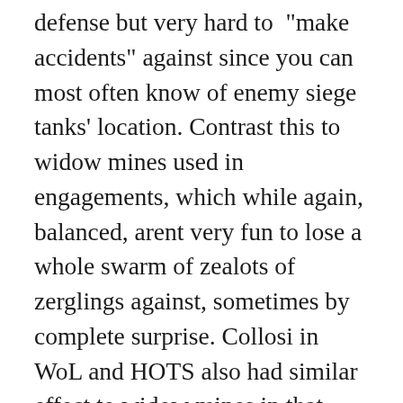defense but very hard to "make accidents" against since you can most often know of enemy siege tanks' location. Contrast this to widow mines used in engagements, which while again, balanced, arent very fun to lose a whole swarm of zealots of zerglings against, sometimes by complete surprise. Collosi in WoL and HOTS also had similar effect to widow mines in that engagement against them could end very badly, very fast. Disruptor has the same problem, but perhaps in some ways less (hard for me to explain why that is despite its one shot mechanic, but i somehow feel more